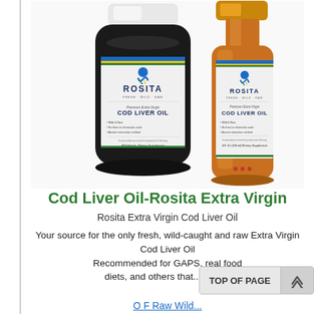[Figure (photo): Two Rosita Extra Virgin Cod Liver Oil products: a black supplement bottle with softgels on the left and an amber glass bottle of liquid oil on the right. Both have white labels with the Rosita logo and branding.]
Cod Liver Oil-Rosita Extra Virgin
Rosita Extra Virgin Cod Liver Oil
Your source for the only fresh, wild-caught and raw Extra Virgin Cod Liver Oil Recommended for GAPS, real food diets, and others that...More »
TOP OF PAGE